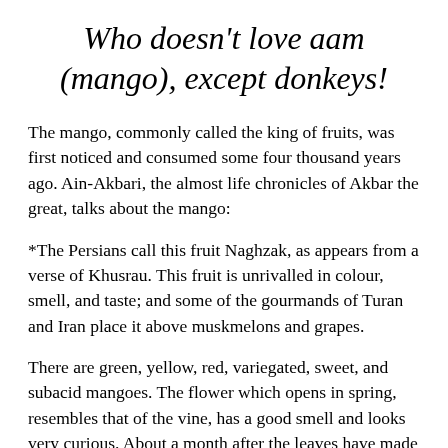Who doesn't love aam (mango), except donkeys!
The mango, commonly called the king of fruits, was first noticed and consumed some four thousand years ago. Ain-Akbari, the almost life chronicles of Akbar the great, talks about the mango:
*The Persians call this fruit Naghzak, as appears from a verse of Khusrau. This fruit is unrivalled in colour, smell, and taste; and some of the gourmands of Turan and Iran place it above muskmelons and grapes.
There are green, yellow, red, variegated, sweet, and subacid mangoes. The flower which opens in spring, resembles that of the vine, has a good smell and looks very curious. About a month after the leaves have made their appearance, the fruit is sour, and